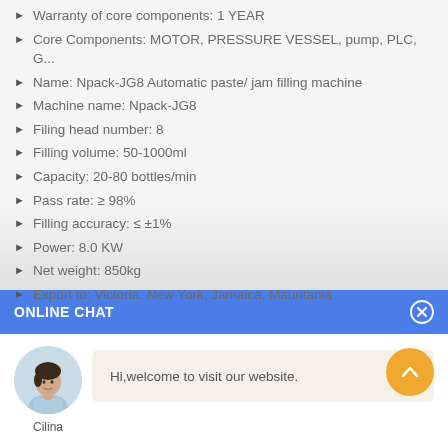Warranty of core components: 1 YEAR
Core Components: MOTOR, PRESSURE VESSEL, pump, PLC, G...
Name: Npack-JG8 Automatic paste/ jam filling machine
Machine name: Npack-JG8
Filing head number: 8
Filling volume: 50-1000ml
Capacity: 20-80 bottles/min
Pass rate: ≥ 98%
Filling accuracy: ≤ ±1%
Power: 8.0 KW
Net weight: 850kg
Export to: Victoria, New York, Jamaica, Mauritania
ONLINE CHAT
[Figure (illustration): Customer service avatar — a woman in a white shirt, portrait photo in a circle, named Cilina]
Cilina
Hi,welcome to visit our website.